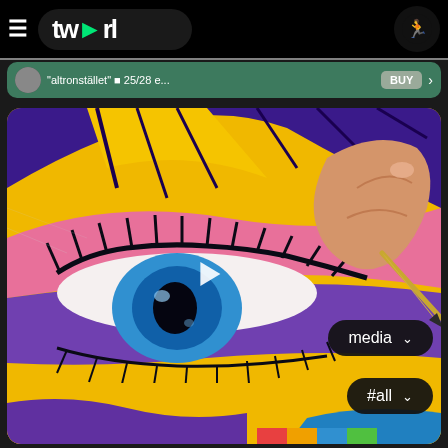[Figure (screenshot): Twirl app screenshot showing logo top bar, a teal notification bar with text 'altronstället' and 25/28 e... BUY button, and a large colorful comic-style anime eye illustration with a hand holding a stylus, overlaid with a play button and two dropdown controls: 'media' and '#all']